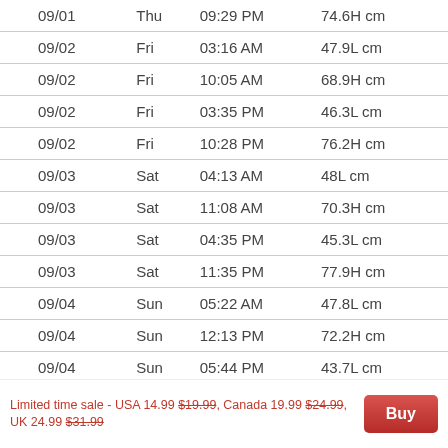| Date | Day | Time | Height |
| --- | --- | --- | --- |
| 09/01 | Thu | 09:29 PM | 74.6H cm |
| 09/02 | Fri | 03:16 AM | 47.9L cm |
| 09/02 | Fri | 10:05 AM | 68.9H cm |
| 09/02 | Fri | 03:35 PM | 46.3L cm |
| 09/02 | Fri | 10:28 PM | 76.2H cm |
| 09/03 | Sat | 04:13 AM | 48L cm |
| 09/03 | Sat | 11:08 AM | 70.3H cm |
| 09/03 | Sat | 04:35 PM | 45.3L cm |
| 09/03 | Sat | 11:35 PM | 77.9H cm |
| 09/04 | Sun | 05:22 AM | 47.8L cm |
| 09/04 | Sun | 12:13 PM | 72.2H cm |
| 09/04 | Sun | 05:44 PM | 43.7L cm |
| 09/05 | Mon | 12:43 AM | 79.4H cm |
Limited time sale - USA 14.99 $19.99, Canada 19.99 $24.99, UK 24.99 $31.99